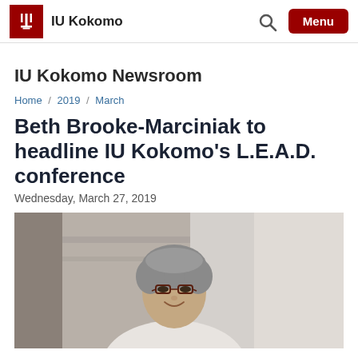IU Kokomo
IU Kokomo Newsroom
Home / 2019 / March
Beth Brooke-Marciniak to headline IU Kokomo's L.E.A.D. conference
Wednesday, March 27, 2019
[Figure (photo): Portrait photo of Beth Brooke-Marciniak, a woman with short gray hair and glasses, smiling, in a blurred indoor background]